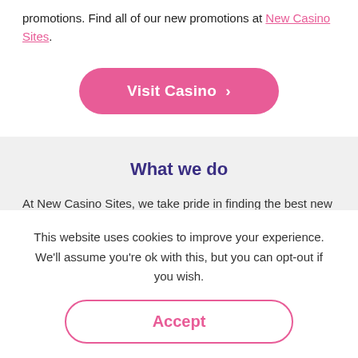promotions. Find all of our new promotions at New Casino Sites.
[Figure (other): Pink rounded button labeled 'Visit Casino >']
What we do
At New Casino Sites, we take pride in finding the best new
This website uses cookies to improve your experience. We'll assume you're ok with this, but you can opt-out if you wish.
[Figure (other): Pink outlined rounded button labeled 'Accept']